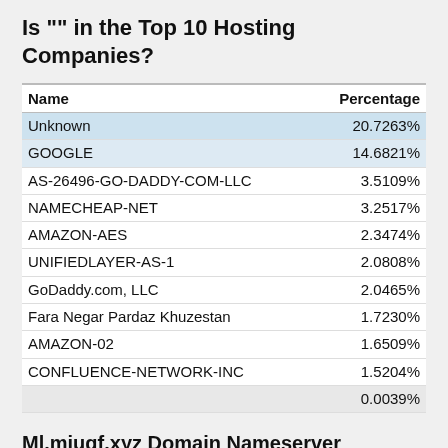Is "" in the Top 10 Hosting Companies?
| Name | Percentage |
| --- | --- |
| Unknown | 20.7263% |
| GOOGLE | 14.6821% |
| AS-26496-GO-DADDY-COM-LLC | 3.5109% |
| NAMECHEAP-NET | 3.2517% |
| AMAZON-AES | 2.3474% |
| UNIFIEDLAYER-AS-1 | 2.0808% |
| GoDaddy.com, LLC | 2.0465% |
| Fara Negar Pardaz Khuzestan | 1.7230% |
| AMAZON-02 | 1.6509% |
| CONFLUENCE-NETWORK-INC | 1.5204% |
|  | 0.0039% |
Ml.miuqf.xyz Domain Nameserver Information
| Host | IP Address | Country |
| --- | --- | --- |